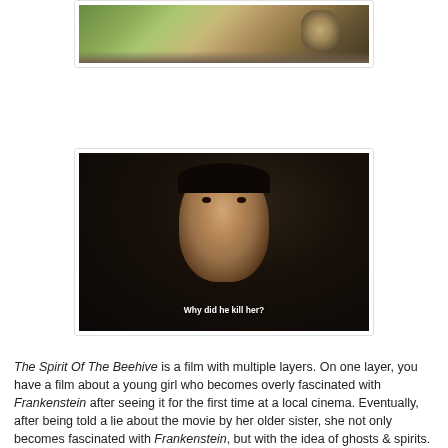[Figure (photo): Top photo showing outdoor scene with trees and a figure, partially visible]
[Figure (photo): Dark film still showing a child's face looking upward, with subtitle text 'Why did he kill her?' at the bottom]
The Spirit Of The Beehive is a film with multiple layers. On one layer, you have a film about a young girl who becomes overly fascinated with Frankenstein after seeing it for the first time at a local cinema. Eventually, after being told a lie about the movie by her older sister, she not only becomes fascinated with Frankenstein, but with the idea of ghosts & spirits. On another level, we have a film that symbolizes the rule that Franco had over Spain (like most Spanish films at the time). The Spirit Of The Beehive is also a textbook: